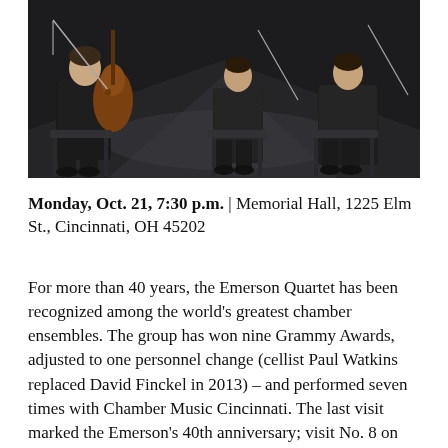[Figure (photo): Black and white photo of string quartet musicians seated with instruments including a cello and violin, wearing suits, on a modern stage setting.]
Monday, Oct. 21, 7:30 p.m. | Memorial Hall, 1225 Elm St., Cincinnati, OH 45202
For more than 40 years, the Emerson Quartet has been recognized among the world's greatest chamber ensembles. The group has won nine Grammy Awards, adjusted to one personnel change (cellist Paul Watkins replaced David Finckel in 2013) – and performed seven times with Chamber Music Cincinnati. The last visit marked the Emerson's 40th anniversary; visit No. 8 on